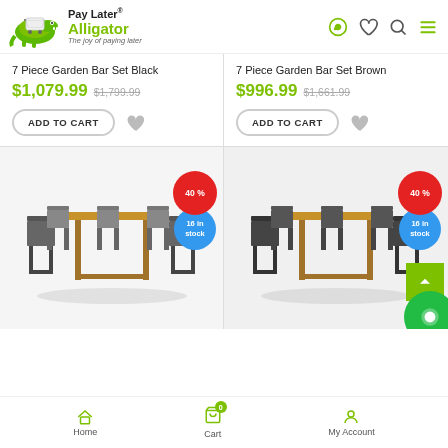[Figure (logo): Pay Later Alligator logo with crocodile mascot and shopping cart, tagline: The joy of paying later]
7 Piece Garden Bar Set Black
$1,079.99  $1,799.99
ADD TO CART
7 Piece Garden Bar Set Brown
$996.99  $1,661.99
ADD TO CART
[Figure (photo): 7 Piece Garden Bar Set Black - outdoor bar table with 6 grey poly rattan chairs, wooden table top. Badge: 40% off, 16 in stock]
[Figure (photo): 7 Piece Garden Bar Set Brown - outdoor bar table with 6 black chairs, wooden table top. Badge: 40% off, 16 in stock]
Home  Cart  My Account